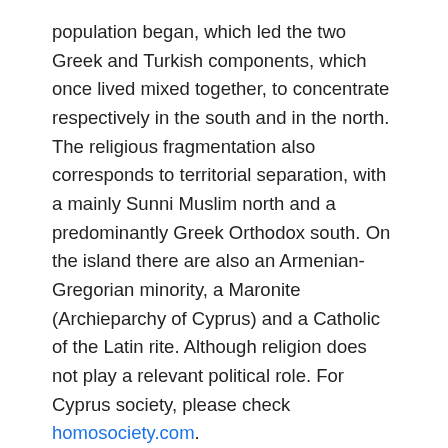population began, which led the two Greek and Turkish components, which once lived mixed together, to concentrate respectively in the south and in the north. The religious fragmentation also corresponds to territorial separation, with a mainly Sunni Muslim north and a predominantly Greek Orthodox south. On the island there are also an Armenian-Gregorian minority, a Maronite (Archieparchy of Cyprus) and a Catholic of the Latin rite. Although religion does not play a relevant political role. For Cyprus society, please check homosociety.com.
Based on the bicommunal constitutional architecture, the official languages spoken in Cyprus are Greek and Turkish. English however remains used by a large part of the population, as a result of the British presence on the island.
Thanks to the significant investments of the government, Cyprus has a very high level of education: this makes the country, compared to other EU member states, the one